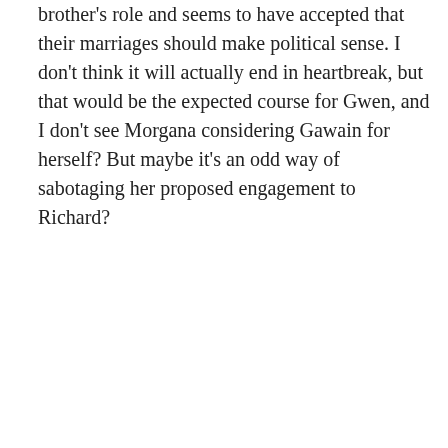brother's role and seems to have accepted that their marriages should make political sense. I don't think it will actually end in heartbreak, but that would be the expected course for Gwen, and I don't see Morgana considering Gawain for herself? But maybe it's an odd way of sabotaging her proposed engagement to Richard?
Liked by 1 person
Reply
Yimiki
December 2, 2021 at 9:02 am
Thank you! I sometimes feel like I might be